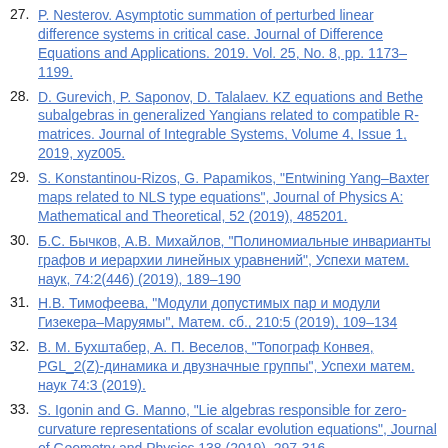27. P. Nesterov. Asymptotic summation of perturbed linear difference systems in critical case. Journal of Difference Equations and Applications. 2019. Vol. 25, No. 8, pp. 1173–1199.
28. D. Gurevich, P. Saponov, D. Talalaev. KZ equations and Bethe subalgebras in generalized Yangians related to compatible R-matrices. Journal of Integrable Systems, Volume 4, Issue 1, 2019, xyz005.
29. S. Konstantinou-Rizos, G. Papamikos, "Entwining Yang–Baxter maps related to NLS type equations", Journal of Physics A: Mathematical and Theoretical, 52 (2019), 485201.
30. Б.С. Бычков, А.В. Михайлов, "Полиномиальные инварианты графов и иерархии линейных уравнений", Успехи матем. наук, 74:2(446) (2019), 189–190
31. Н.В. Тимофеева, "Модули допустимых пар и модули Гизекера–Маруямы", Матем. сб., 210:5 (2019), 109–134
32. В. М. Бухштабер, А. П. Веселов, "Топограф Конвея, PGL_2(Z)-динамика и двузначные группы", Успехи матем. наук 74:3 (2019).
33. S. Igonin and G. Manno, "Lie algebras responsible for zero-curvature representations of scalar evolution equations", Journal of Geometry and Physics 138 (2019), 297-316.